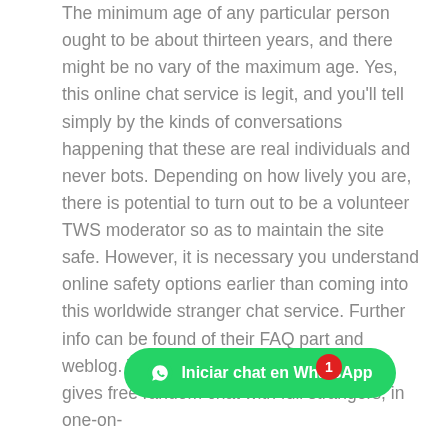The minimum age of any particular person ought to be about thirteen years, and there might be no vary of the maximum age. Yes, this online chat service is legit, and you'll tell simply by the kinds of conversations happening that these are real individuals and never bots. Depending on how lively you are, there is potential to turn out to be a volunteer TWS moderator so as to maintain the site safe. However, it is necessary you understand online safety options earlier than coming into this worldwide stranger chat service. Further info can be found of their FAQ part and weblog. TalkwithStranger is a service that gives free random chat with full strangers, in one-on-one chats. No registration is required, and you may also ship footage as properly as video content material.
[Figure (other): Green WhatsApp button with text 'Iniciar chat en WhatsApp' and a red notification badge showing '1']